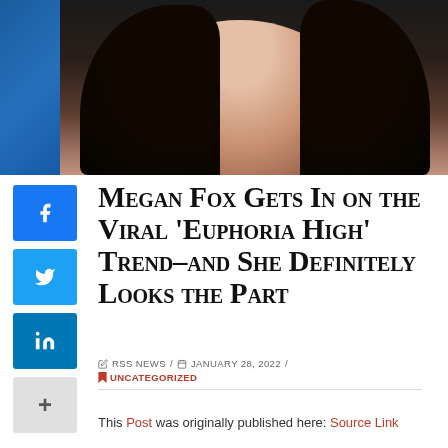[Figure (photo): Photo of Megan Fox with long dark hair against a dark background]
Megan Fox Gets In on the Viral ‘Euphoria High’ Trend–and She Definitely Looks the Part
RSS NEWS / JANUARY 28, 2022 / UNCATEGORIZED
This Post was originally published here: Source Link